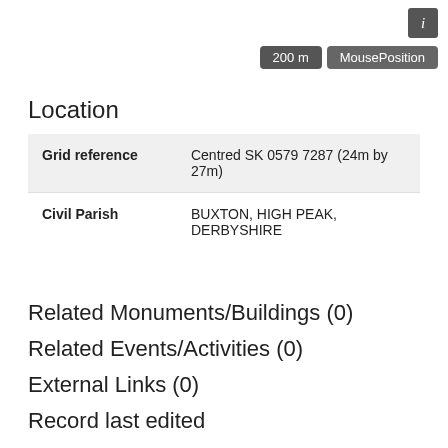[Figure (screenshot): Info button (i) in dark grey square, top right corner]
200 m   MousePosition
Location
| Grid reference | Centred SK 0579 7287 (24m by 27m) |
| Civil Parish | BUXTON, HIGH PEAK, DERBYSHIRE |
Related Monuments/Buildings (0)
Related Events/Activities (0)
External Links (0)
Record last edited